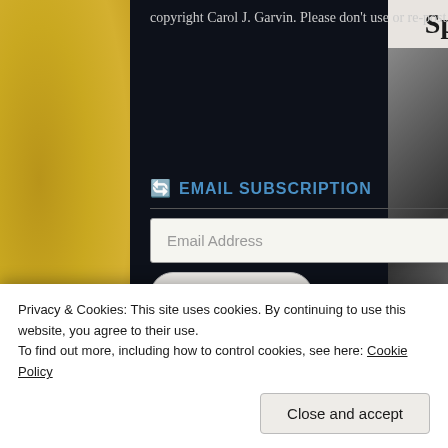copyright Carol J. Garvin. Please don't use or re-post without prior written consent from the author. Thanks!
EMAIL SUBSCRIPTION
Email Address
Sign me up!
RSS FEED
Privacy & Cookies: This site uses cookies. By continuing to use this website, you agree to their use.
To find out more, including how to control cookies, see here: Cookie Policy
Close and accept